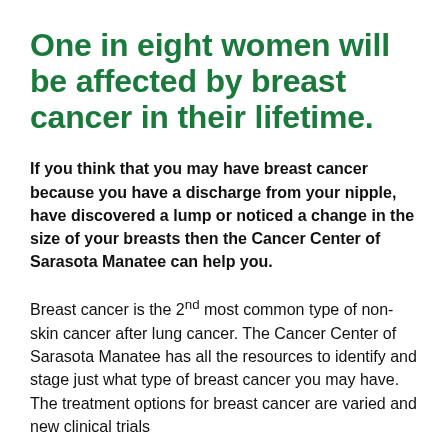One in eight women will be affected by breast cancer in their lifetime.
If you think that you may have breast cancer because you have a discharge from your nipple, have discovered a lump or noticed a change in the size of your breasts then the Cancer Center of Sarasota Manatee can help you.
Breast cancer is the 2nd most common type of non-skin cancer after lung cancer. The Cancer Center of Sarasota Manatee has all the resources to identify and stage just what type of breast cancer you may have. The treatment options for breast cancer are varied and new clinical trials